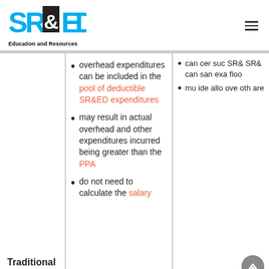SR&ED Education and Resources
can certain such SR& SR& can san exa floo
overhead expenditures can be included in the pool of deductible SR&ED expenditures
may result in actual overhead and other expenditures incurred being greater than the PPA
do not need to calculate the salary
Traditional method
mu ide allo ove oth are
mu ide allo ove oth are